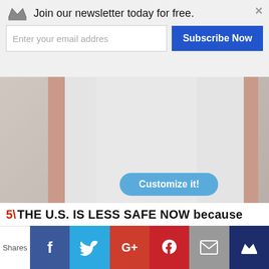Join our newsletter today for free.
Enter your email addres  Subscribe Now
[Figure (photo): Person wearing a white t-shirt with arms spread, and a 'Customize it!' button overlaid at the bottom]
TSHIRT: “ Not A Republican or a Democrat – I’M AN AMERICAN and I Want My Country BACK’
20-50% Off – see code
5) THE U.S. IS LESS SAFE NOW because
Shares  [Facebook] [Twitter] [Google+] [Pinterest] [Email] [Crown]